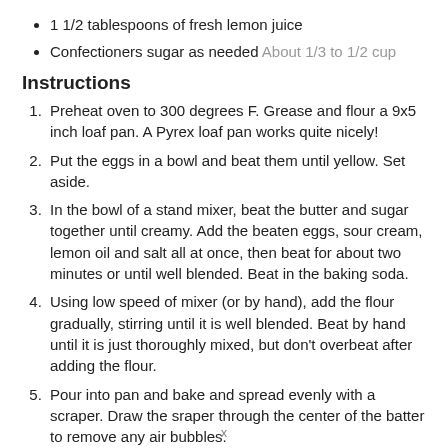1 1/2 tablespoons of fresh lemon juice
Confectioners sugar as needed About 1/3 to 1/2 cup
Instructions
1. Preheat oven to 300 degrees F. Grease and flour a 9x5 inch loaf pan. A Pyrex loaf pan works quite nicely!
2. Put the eggs in a bowl and beat them until yellow. Set aside.
3. In the bowl of a stand mixer, beat the butter and sugar together until creamy. Add the beaten eggs, sour cream, lemon oil and salt all at once, then beat for about two minutes or until well blended. Beat in the baking soda.
4. Using low speed of mixer (or by hand), add the flour gradually, stirring until it is well blended. Beat by hand until it is just thoroughly mixed, but don't overbeat after adding the flour.
5. Pour into pan and bake and spread evenly with a scraper. Draw the sraper through the center of the batter to remove any air bubbles.
x